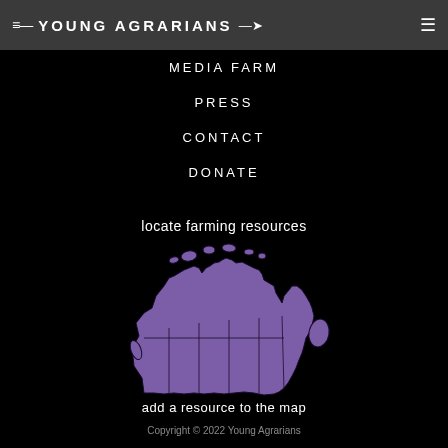≡ YOUNG AGRARIANS ☰
MEDIA FARM
PRESS
CONTACT
DONATE
locate farming resources
[Figure (map): Purple illustrated map of Canada with provincial/territorial outlines]
add a resource to the map
Copyright © 2022 Young Agrarians